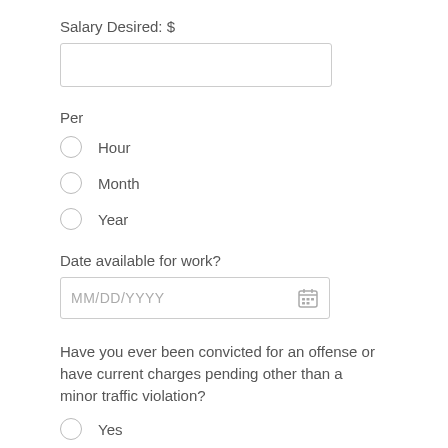Salary Desired: $
Per
Hour
Month
Year
Date available for work?
MM/DD/YYYY
Have you ever been convicted for an offense or have current charges pending other than a minor traffic violation?
Yes